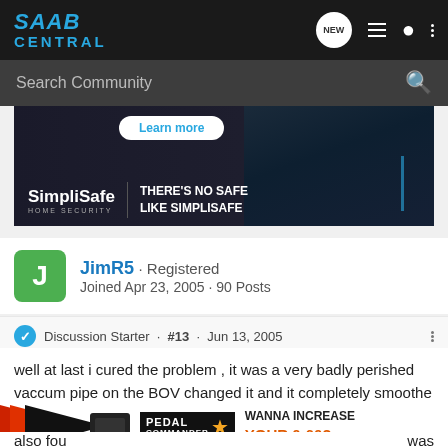SAAB CENTRAL
Search Community
[Figure (photo): SimpliSafe Home Security advertisement banner: dark background with a hand holding a phone, 'Learn more' button, SimpliSafe logo and slogan 'THERE'S NO SAFE LIKE SIMPLISAFE']
JimR5 · Registered
Joined Apr 23, 2005 · 90 Posts
Discussion Starter · #13 · Jun 13, 2005
well at last i cured the problem , it was a very badly perished vaccum pipe on the BOV changed it and it completely smoothe
[Figure (photo): Pedal Commander advertisement: orange/black arrows on left, device image, Pedal Commander logo with star, text 'WANNA INCREASE YOUR 0-60?']
also fou                                                   was